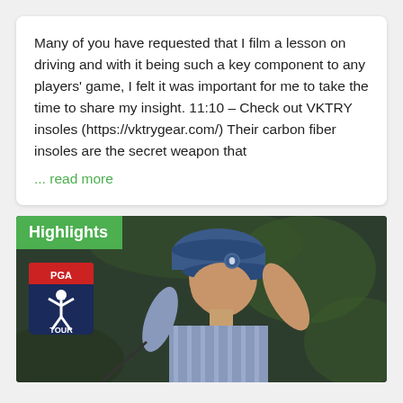Many of you have requested that I film a lesson on driving and with it being such a key component to any players' game, I felt it was important for me to take the time to share my insight. 11:10 – Check out VKTRY insoles (https://vktrygear.com/) Their carbon fiber insoles are the secret weapon that
... read more
[Figure (photo): A thumbnail image showing a golfer in a blue cap and striped shirt mid-swing, with a green 'Highlights' badge in the top-left corner and a PGA Tour logo below it. The background is dark green/bokeh trees.]